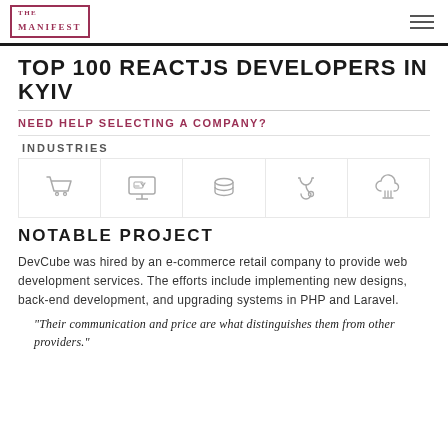THE MANIFEST
TOP 100 REACTJS DEVELOPERS IN KYIV
NEED HELP SELECTING A COMPANY?
INDUSTRIES
[Figure (illustration): Five industry icons: shopping cart, e-commerce monitor, database stacks, medical stethoscope, cloud/tree]
NOTABLE PROJECT
DevCube was hired by an e-commerce retail company to provide web development services. The efforts include implementing new designs, back-end development, and upgrading systems in PHP and Laravel.
“Their communication and price are what distinguishes them from other providers.”